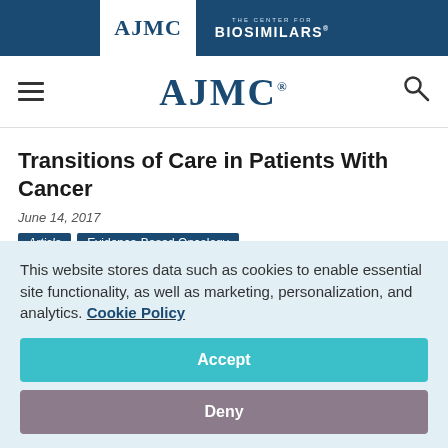[Figure (logo): AJMC and The Center for Biosimilars logos on dark blue banner]
AJMC navigation bar with hamburger menu, AJMC logo, and search icon
Transitions of Care in Patients With Cancer
June 14, 2017
Article | Evidence-Based Oncology
Pharmacists play an integral role in enhancing transitions
This website stores data such as cookies to enable essential site functionality, as well as marketing, personalization, and analytics. Cookie Policy
Accept
Deny